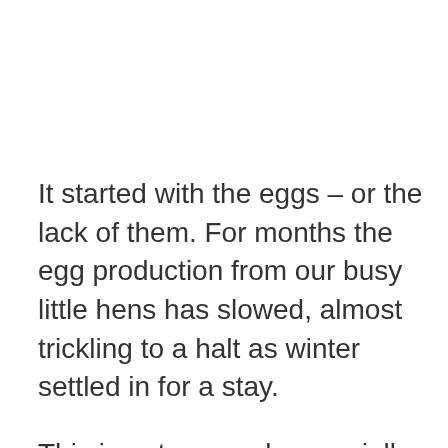It started with the eggs – or the lack of them. For months the egg production from our busy little hens has slowed, almost trickling to a halt as winter settled in for a stay.
This is not unusual, especially if you don't switch on a light to brighten the short winter nights and stimulate the egg-producing behavior. I stopped doing that in order to allow the birds to plump up and relax during the cold months. I figure they're healthier if their energy production goes into producing heat and bulking up. This year, an occasional warm day here and there caused a burst of productivity that resulted in a dozen eggs. After only one or two every three or four days, we took that as an indication that winter